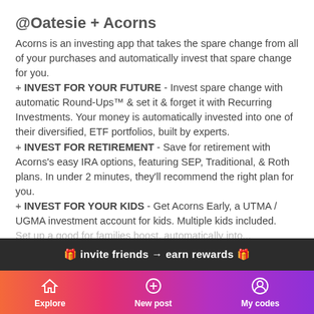@Oatesie + Acorns
Acorns is an investing app that takes the spare change from all of your purchases and automatically invest that spare change for you.
+ INVEST FOR YOUR FUTURE - Invest spare change with automatic Round-Ups™ & set it & forget it with Recurring Investments. Your money is automatically invested into one of their diversified, ETF portfolios, built by experts.
+ INVEST FOR RETIREMENT - Save for retirement with Acorns's easy IRA options, featuring SEP, Traditional, & Roth plans. In under 2 minutes, they'll recommend the right plan for you.
+ INVEST FOR YOUR KIDS - Get Acorns Early, a UTMA / UGMA investment account for kids. Multiple kids included.
🎁 invite friends → earn rewards 🎁
Explore  New post  My codes